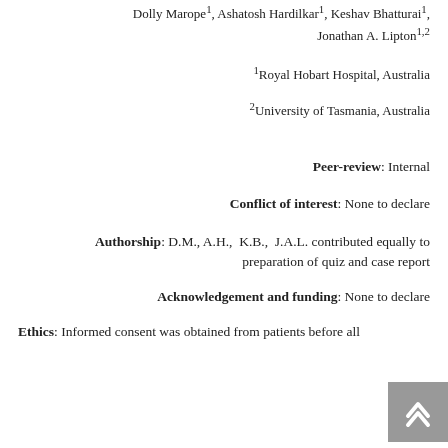Dolly Marope¹, Ashatosh Hardilkar¹, Keshav Bhatturai¹, Jonathan A. Lipton¹·²
¹Royal Hobart Hospital, Australia
²University of Tasmania, Australia
Peer-review: Internal
Conflict of interest: None to declare
Authorship: D.M., A.H., K.B., J.A.L. contributed equally to preparation of quiz and case report
Acknowledgement and funding: None to declare
Ethics: Informed consent was obtained from patients before all